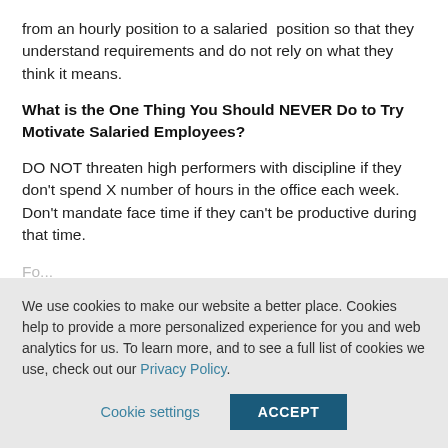from an hourly position to a salaried position so that they understand requirements and do not rely on what they think it means.
What is the One Thing You Should NEVER Do to Try Motivate Salaried Employees?
DO NOT threaten high performers with discipline if they don't spend X number of hours in the office each week. Don't mandate face time if they can't be productive during that time.
Fo...
We use cookies to make our website a better place. Cookies help to provide a more personalized experience for you and web analytics for us. To learn more, and to see a full list of cookies we use, check out our Privacy Policy.
Cookie settings | ACCEPT